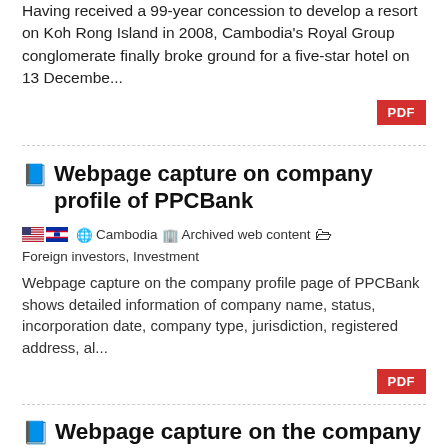Having received a 99-year concession to develop a resort on Koh Rong Island in 2008, Cambodia's Royal Group conglomerate finally broke ground for a five-star hotel on 13 Decembe...
PDF
Webpage capture on company profile of PPCBank
Cambodia  Archived web content  Foreign investors, Investment
Webpage capture on the company profile page of PPCBank shows detailed information of company name, status, incorporation date, company type, jurisdiction, registered address, al...
PDF
Webpage capture on the company profile of Bank of China (Hong Kong) Limited Phnom Penh Branch